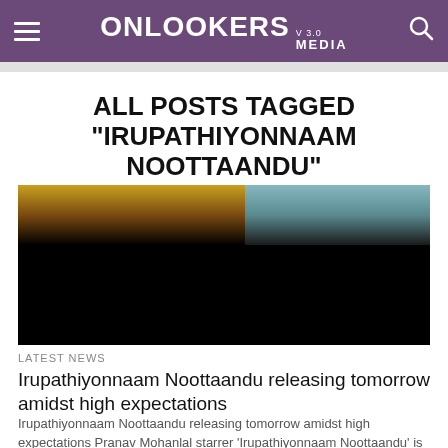ONLOOKERS MEDIA V3.0
ALL POSTS TAGGED "IRUPATHIYONNAAM NOOTTAANDU"
[Figure (photo): Dark cinematic image showing silhouettes of two people with warm sunset tones on the left half and cool blue tones on the right half, mostly dark/black in the lower portion]
LATEST NEWS
Irupathiyonnaam Noottaandu releasing tomorrow amidst high expectations
Irupathiyonnaam Noottaandu releasing tomorrow amidst high expectations Pranav Mohanlal starrer 'Irupathiyonnaam Noottaandu' is one of the most hyped movies of the first...